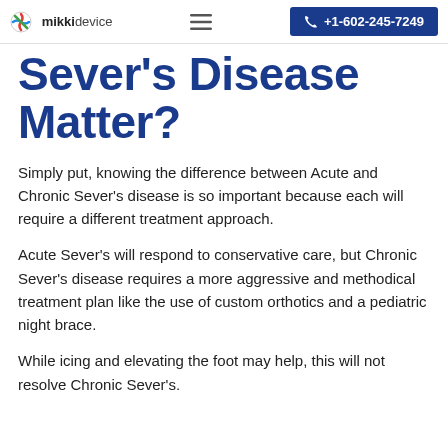mikkidevice | +1-602-245-7249
Sever's Disease Matter?
Simply put, knowing the difference between Acute and Chronic Sever's disease is so important because each will require a different treatment approach.
Acute Sever's will respond to conservative care, but Chronic Sever's disease requires a more aggressive and methodical treatment plan like the use of custom orthotics and a pediatric night brace.
While icing and elevating the foot may help, this will not resolve Chronic Sever's.